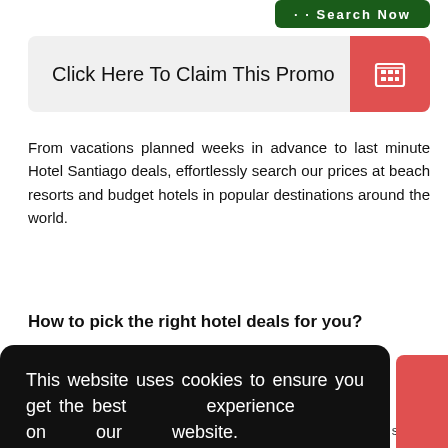[Figure (other): Green search button partially visible at top right]
[Figure (other): Click Here To Claim This Promo bar with red hotel icon button]
From vacations planned weeks in advance to last minute Hotel Santiago deals, effortlessly search our prices at beach resorts and budget hotels in popular destinations around the world.
How to pick the right hotel deals for you?
This website uses cookies to ensure you get the best experience on our website. (Ok, now just show me hotels)
[Figure (other): Proceed button (yellow rounded rectangle)]
search for railway stations or airport hotels in the city